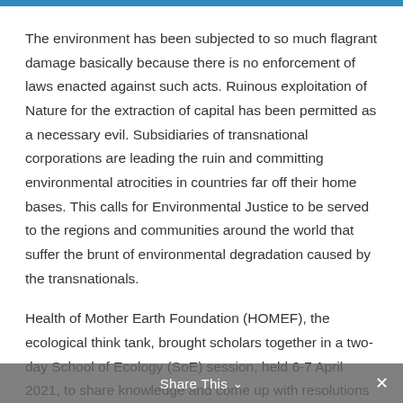The environment has been subjected to so much flagrant damage basically because there is no enforcement of laws enacted against such acts. Ruinous exploitation of Nature for the extraction of capital has been permitted as a necessary evil. Subsidiaries of transnational corporations are leading the ruin and committing environmental atrocities in countries far off their home bases. This calls for Environmental Justice to be served to the regions and communities around the world that suffer the brunt of environmental degradation caused by the transnationals.
Health of Mother Earth Foundation (HOMEF), the ecological think tank, brought scholars together in a two-day School of Ecology (SoE) session, held 6-7 April 2021, to share knowledge and come up with resolutions
Share This